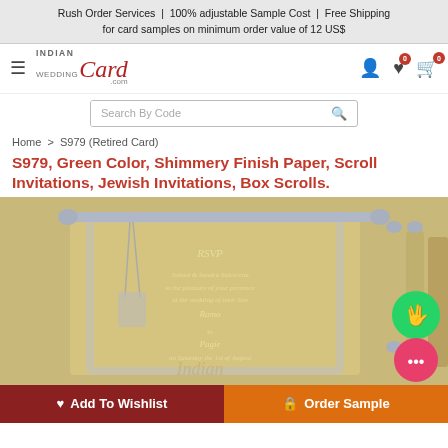Rush Order Services  |  100% adjustable Sample Cost  |  Free Shipping for card samples on minimum order value of 12 US$
[Figure (logo): Indian Wedding Card .com logo with hamburger menu, user, wishlist and cart icons with badges showing 0]
[Figure (screenshot): Search By Code input bar with search icon]
Home > S979 (Retired Card)
S979, Green Color, Shimmery Finish Paper, Scroll Invitations, Jewish Invitations, Box Scrolls.
[Figure (photo): Product photo showing a gold/olive shimmery scroll invitation with silver decorative border, silver rod finials, tassel, and a matching box, with RSVP text visible on the scroll face.]
Add To Wishlist   Order Sample